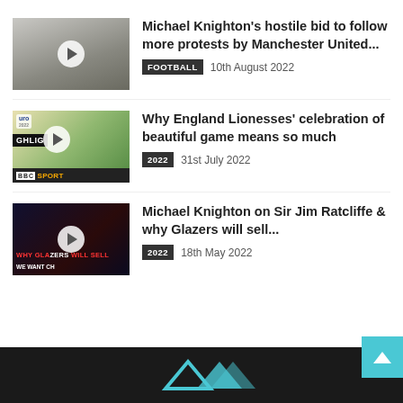[Figure (photo): Thumbnail of Michael Knighton with play button overlay]
Michael Knighton's hostile bid to follow more protests by Manchester United...
FOOTBALL  10th August 2022
[Figure (photo): Thumbnail of England Lionesses celebrating with BBC Sport / Euro 2022 overlay and play button]
Why England Lionesses' celebration of beautiful game means so much
2022  31st July 2022
[Figure (photo): Thumbnail of Michael Knighton and Sir Jim Ratcliffe with dark background and WHY GLAZERS WILL SELL text overlay, play button]
Michael Knighton on Sir Jim Ratcliffe & why Glazers will sell...
2022  18th May 2022
Footer with logo and back-to-top button